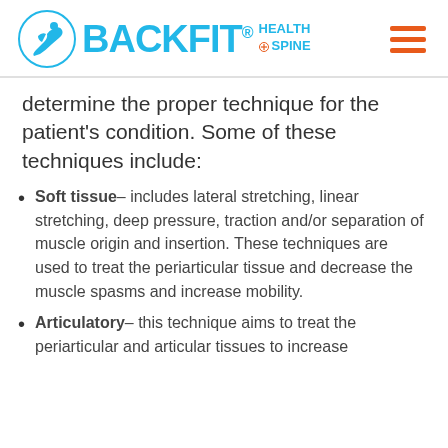[Figure (logo): BackFit Health + Spine logo with circular icon and hamburger menu icon]
determine the proper technique for the patient's condition. Some of these techniques include:
Soft tissue– includes lateral stretching, linear stretching, deep pressure, traction and/or separation of muscle origin and insertion. These techniques are used to treat the periarticular tissue and decrease the muscle spasms and increase mobility.
Articulatory– this technique aims to treat the periarticular and articular tissues to increase